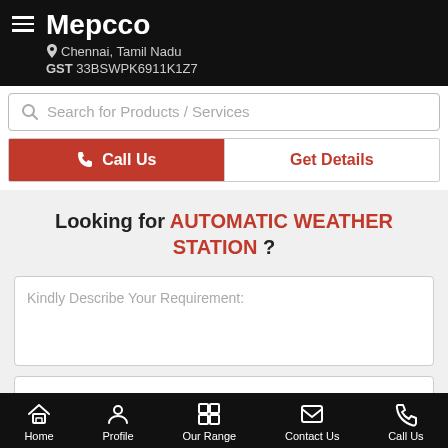Mepcco — Chennai, Tamil Nadu — GST 33BSWPK6911K1Z7
Search for Products / Services
Call Us | Get Details
Looking for AUTOMATIC WEATHER STATION ?
Kindly Describe Your Requirement:
+91 Enter Your Mobile
Home | Profile | Our Range | Contact Us | Call Us